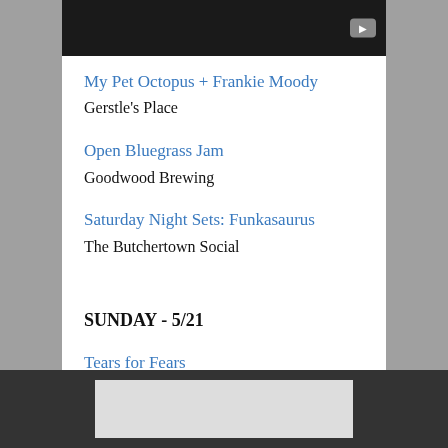[Figure (screenshot): Black video player bar with play button icon in top right]
My Pet Octopus + Frankie Moody
Gerstle's Place
Open Bluegrass Jam
Goodwood Brewing
Saturday Night Sets: Funkasaurus
The Butchertown Social
SUNDAY - 5/21
Tears for Fears
[Figure (screenshot): Gray advertisement or image block at bottom of page]